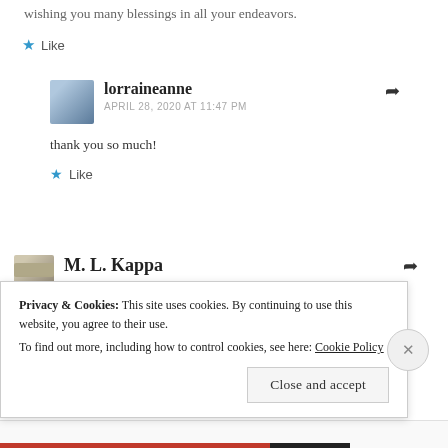wishing you many blessings in all your endeavors.
★ Like
lorraineanne
APRIL 28, 2020 AT 11:47 PM
thank you so much!
★ Like
M. L. Kappa
Privacy & Cookies: This site uses cookies. By continuing to use this website, you agree to their use.
To find out more, including how to control cookies, see here: Cookie Policy
Close and accept